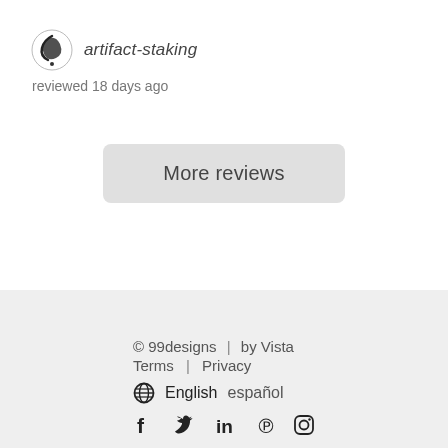artifact-staking
reviewed 18 days ago
More reviews
© 99designs  |  by Vista
Terms  |  Privacy
English  español
f  in  P  (instagram)